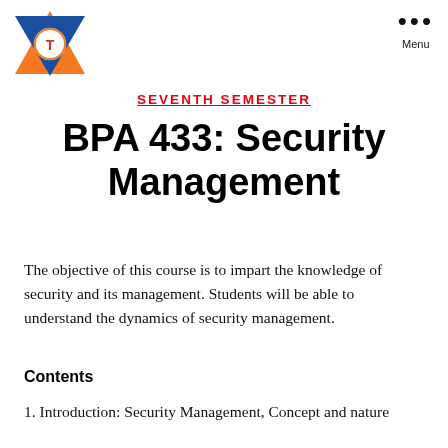Menu
[Figure (logo): Star of David shaped logo with orange triangle and blue triangle overlapping, containing a circular emblem with the letter T in the center]
SEVENTH SEMESTER
BPA 433: Security Management
The objective of this course is to impart the knowledge of security and its management. Students will be able to understand the dynamics of security management.
Contents
1. Introduction: Security Management, Concept and nature